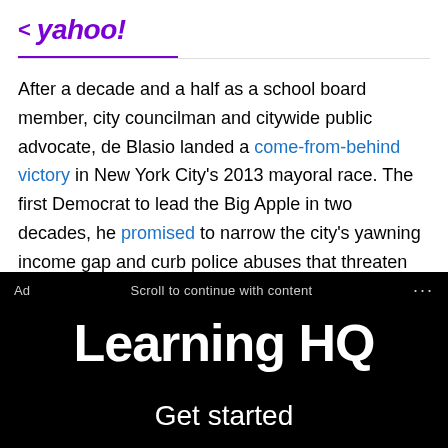< yahoo!
After a decade and a half as a school board member, city councilman and citywide public advocate, de Blasio landed a come-from-behind victory in New York City's 2013 mayoral race. The first Democrat to lead the Big Apple in two decades, he promised to narrow the city's yawning income gap and curb police abuses that threaten his own biracial children.
[Figure (screenshot): Ad banner with black background showing 'Learning HQ' logo text in white bold font, with 'Ad' label and 'Scroll to continue with content' text, and 'Get started' text at bottom]